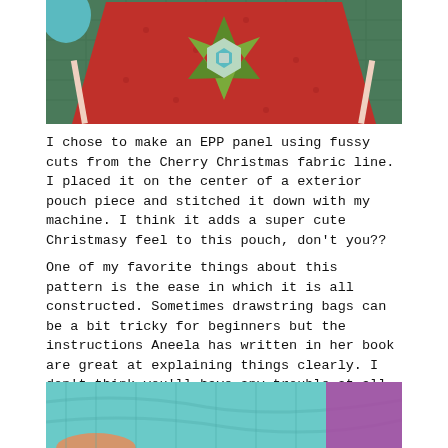[Figure (photo): A red patchwork drawstring bag with an EPP (English Paper Piecing) hexagon star panel in the center, placed on a green cutting mat. The bag features Christmas fabric with green star points and teal hexagons.]
I chose to make an EPP panel using fussy cuts from the Cherry Christmas fabric line. I placed it on the center of a exterior pouch piece and stitched it down with my machine. I think it adds a super cute Christmasy feel to this pouch, don't you??
One of my favorite things about this pattern is the ease in which it is all constructed. Sometimes drawstring bags can be a bit tricky for beginners but the instructions Aneela has written in her book are great at explaining things clearly. I don't think you'll have any trouble at all whipping up one of these cute bags!
[Figure (photo): Bottom portion of a photo showing teal/mint colored fabric, possibly the interior lining of the drawstring bag, with a purple/magenta item partially visible.]